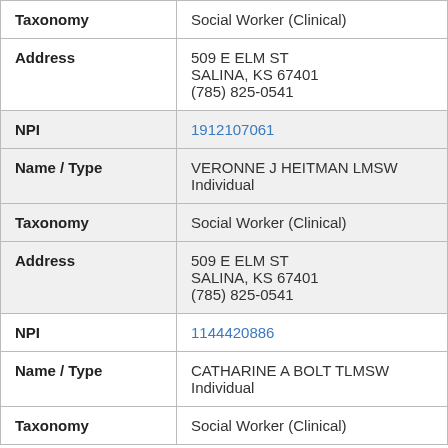| Taxonomy | Social Worker (Clinical) |
| Address | 509 E ELM ST
SALINA, KS 67401
(785) 825-0541 |
| NPI | 1912107061 |
| Name / Type | VERONNE J HEITMAN LMSW
Individual |
| Taxonomy | Social Worker (Clinical) |
| Address | 509 E ELM ST
SALINA, KS 67401
(785) 825-0541 |
| NPI | 1144420886 |
| Name / Type | CATHARINE A BOLT TLMSW
Individual |
| Taxonomy | Social Worker (Clinical) |